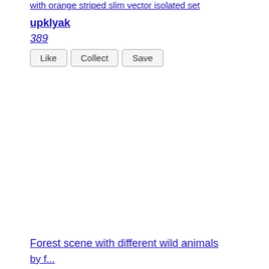with orange striped slim vector isolated set
upklyak
389
Like   Collect   Save
Forest scene with different wild animals
by f...